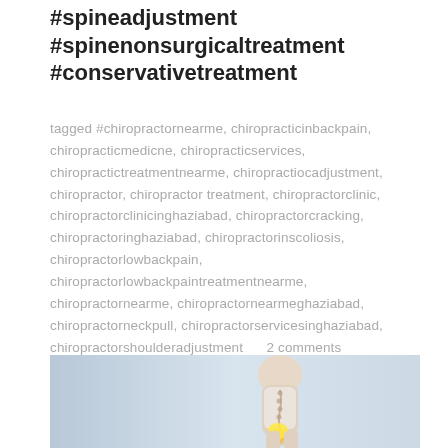#spineadjustment #spinenonsurgicaltreatment #conservativetreatment
tagged #chiropractornearme, chiropracticinbackpain, chiropracticmedicne, chiropracticservices, chiropractictreatmentnearme, chiropractiocadjustment, chiropractor, chiropractor treatment, chiropractorclinic, chiropractorclinicinghaziabad, chiropractorcracking, chiropractoringhaziabad, chiropractorinscoliosis, chiropractorlowbackpain, chiropractorlowbackpaintreatmentnearme, chiropractornearme, chiropractornearmeghaziabad, chiropractorneckpull, chiropractorservicesinghaziabad, chiropractorshoulderadjustment      2 comments
[Figure (photo): A person showing their spine/back area with a glowing yellow highlight on the hip/spine region, illustrating spinal or chiropractic treatment. The background is a light blue-grey gradient.]